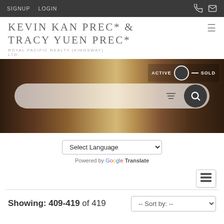SIGNUP  LOGIN
KEVIN KAN PREC* & TRACY YUEN PREC*
ROYAL PACIFIC REALTY (KINGSWAY) LTD.
[Figure (screenshot): Hero background image showing wooden doors/panels with a search bar overlay and ACTIVE/SOLD toggle]
Select Language
Powered by Google Translate
Showing: 409-419 of 419
-- Sort by: --